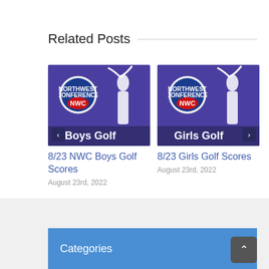Related Posts
[Figure (photo): NWC Boys Golf thumbnail with purple background, NWC logo and golfer silhouette, labeled 'Boys Golf']
8/23 NWC Boys Golf Scores
August 23rd, 2022
[Figure (photo): NWC Girls Golf thumbnail with purple background, NWC logo and golfer silhouette, labeled 'Girls Golf']
8/23 Girls Golf Scores
August 23rd, 2022
Categories